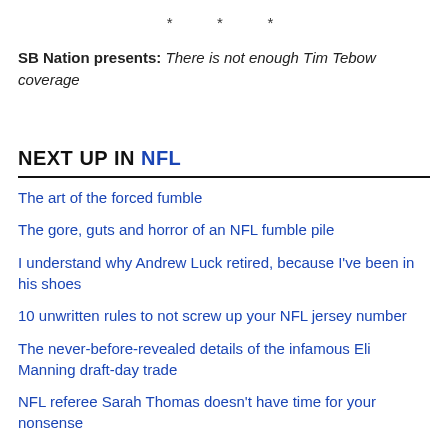* * *
SB Nation presents: There is not enough Tim Tebow coverage
NEXT UP IN NFL
The art of the forced fumble
The gore, guts and horror of an NFL fumble pile
I understand why Andrew Luck retired, because I've been in his shoes
10 unwritten rules to not screw up your NFL jersey number
The never-before-revealed details of the infamous Eli Manning draft-day trade
NFL referee Sarah Thomas doesn't have time for your nonsense